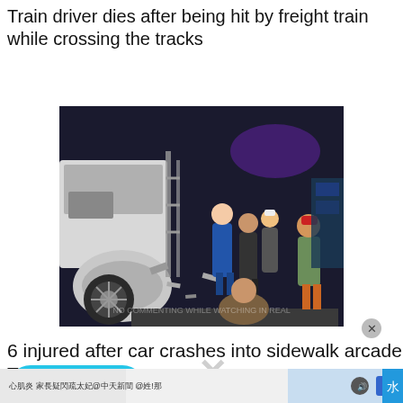Train driver dies after being hit by freight train while crossing the tracks
[Figure (photo): Nighttime scene of a car crash into a sidewalk arcade area; emergency responders and bystanders visible, debris and damaged vehicles on the ground.]
6 injured after car crashes into sidewalk arcade in New Taipei City
[Figure (screenshot): Partially visible bottom image overlay with Chinese text and news channel watermarks, an X close button, and a 'Please tip' button with Ko-fi icon.]